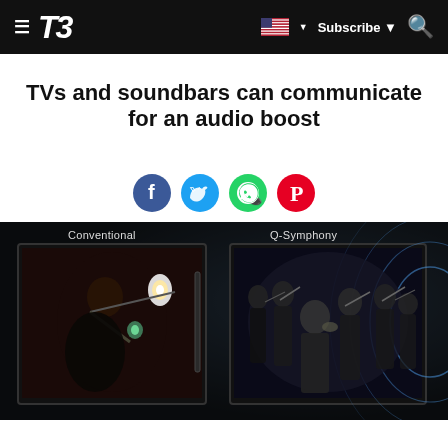T3 — Subscribe
TVs and soundbars can communicate for an audio boost
[Figure (illustration): Social sharing icons row: Facebook (blue), Twitter (light blue), WhatsApp (green), Pinterest (red)]
[Figure (photo): Samsung Q-Symphony promo image showing two TV screens side by side on a dark background. Left screen labeled 'Conventional' shows a violinist; right screen labeled 'Q-Symphony' shows an orchestra with blue sound wave rings emanating from the right side.]